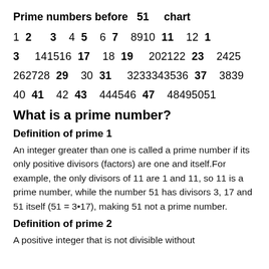Prime numbers before  51   chart
[Figure (infographic): A number chart from 1 to 51 with prime numbers displayed in bold. Row 1: 1 2 3 4 5 6 7 8 9 10 11 12 1; Row 2: 3 14 15 16 17 18 19 20 21 22 23 24 25; Row 3: 26 27 28 29 30 31 32 33 34 35 36 37 38 39; Row 4: 40 41 42 43 44 45 46 47 48 49 50 51]
What is a prime number?
Definition of prime 1
An integer greater than one is called a prime number if its only positive divisors (factors) are one and itself.For example, the only divisors of 11 are 1 and 11, so 11 is a prime number, while the number 51 has divisors 3, 17 and 51 itself (51 = 3•17), making 51 not a prime number.
Definition of prime 2
A positive integer that is not divisible without